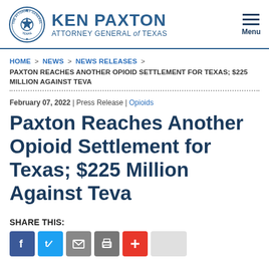KEN PAXTON ATTORNEY GENERAL of TEXAS
HOME > NEWS > NEWS RELEASES > PAXTON REACHES ANOTHER OPIOID SETTLEMENT FOR TEXAS; $225 MILLION AGAINST TEVA
February 07, 2022 | Press Release | Opioids
Paxton Reaches Another Opioid Settlement for Texas; $225 Million Against Teva
SHARE THIS: